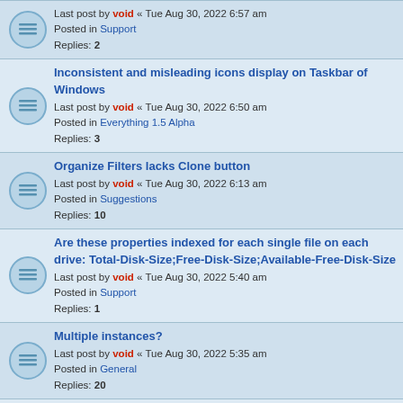Last post by void « Tue Aug 30, 2022 6:57 am
Posted in Support
Replies: 2
Inconsistent and misleading icons display on Taskbar of Windows
Last post by void « Tue Aug 30, 2022 6:50 am
Posted in Everything 1.5 Alpha
Replies: 3
Organize Filters lacks Clone button
Last post by void « Tue Aug 30, 2022 6:13 am
Posted in Suggestions
Replies: 10
Are these properties indexed for each single file on each drive: Total-Disk-Size;Free-Disk-Size;Available-Free-Disk-Size
Last post by void « Tue Aug 30, 2022 5:40 am
Posted in Support
Replies: 1
Multiple instances?
Last post by void « Tue Aug 30, 2022 5:35 am
Posted in General
Replies: 20
What is the difference between Free-Disk-Size and Available-Free-Disk-Size?
Last post by void « Tue Aug 30, 2022 5:28 am
Posted in Support
Replies: 2
Recycle Bin items are omitted from search results
Last post by void « Tue Aug 30, 2022 5:21 am
Posted in Bug report